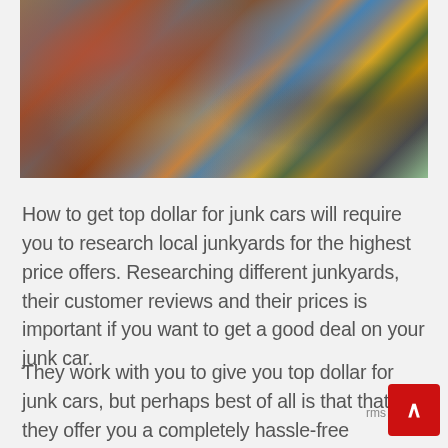[Figure (photo): Aerial or side view of a junkyard with stacked and piled wrecked/crushed cars in various colors including red, blue, grey, and yellow.]
How to get top dollar for junk cars will require you to research local junkyards for the highest price offers. Researching different junkyards, their customer reviews and their prices is important if you want to get a good deal on your junk car.
They work with you to give you top dollar for junk cars, but perhaps best of all is that that they offer you a completely hassle-free experience, quite unlike the frustrations you get with private buyers and dealers. It is a case of filling in an online form, getting a quote,